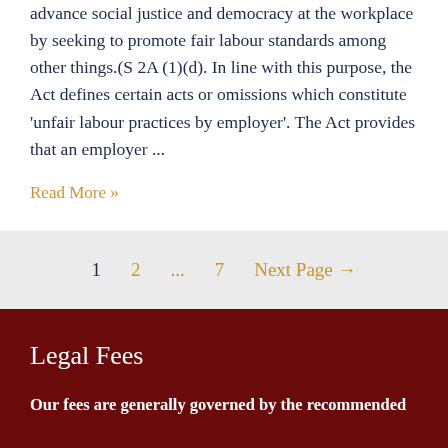advance social justice and democracy at the workplace by seeking to promote fair labour standards among other things.(S 2A (1)(d). In line with this purpose, the Act defines certain acts or omissions which constitute 'unfair labour practices by employer'. The Act provides that an employer ...
Read More »
1  2  ...  7  Next Page →
Legal Fees
Our fees are generally governed by the recommended